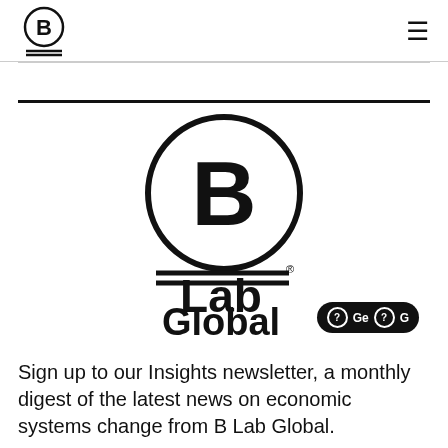B Lab logo and navigation menu
[Figure (logo): B Lab Global logo — large circle with letter B inside, two horizontal lines below, text 'Lab' and 'Global' in bold black]
Sign up to our Insights newsletter, a monthly digest of the latest news on economic systems change from B Lab Global.